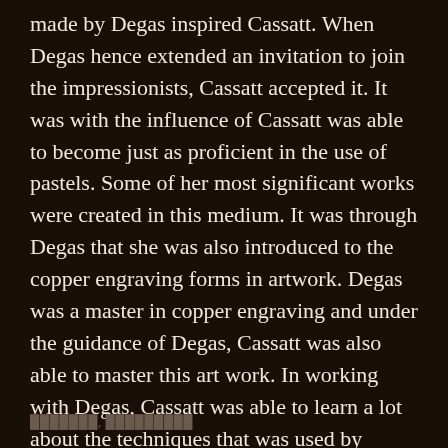made by Degas inspired Cassatt. When Degas hence extended an invitation to join the impressionists, Cassatt accepted it. It was with the influence of Cassatt was able to become just as proficient in the use of pastels. Some of her most significant works were created in this medium. It was through Degas that she was also introduced to the copper engraving forms in artwork. Degas was a master in copper engraving and under the guidance of Degas, Cassatt was also able to master this art work. In working with Degas, Cassatt was able to learn a lot about the techniques that was used by Degas in working with him and observing paintings at the Le Louvre (Mary Cassatt Biography, 2016).
▓▓▓▓▓▓▓, ▓▓▓▓▓▓▓▓▓